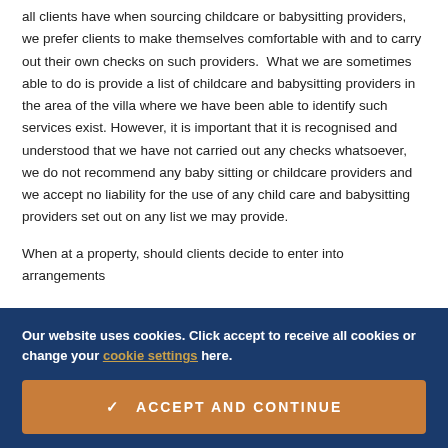all clients have when sourcing childcare or babysitting providers, we prefer clients to make themselves comfortable with and to carry out their own checks on such providers. What we are sometimes able to do is provide a list of childcare and babysitting providers in the area of the villa where we have been able to identify such services exist. However, it is important that it is recognised and understood that we have not carried out any checks whatsoever, we do not recommend any baby sitting or childcare providers and we accept no liability for the use of any child care and babysitting providers set out on any list we may provide.
When at a property, should clients decide to enter into arrangements
Our website uses cookies. Click accept to receive all cookies or change your cookie settings here.
ACCEPT AND CONTINUE